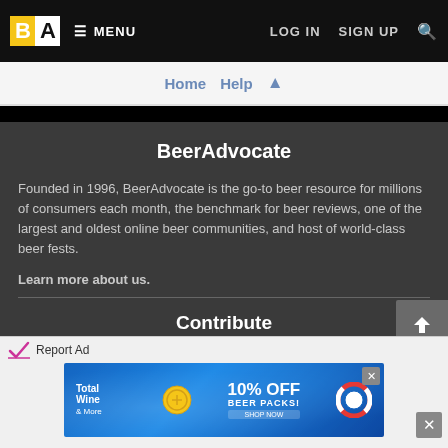BA MENU  LOG IN  SIGN UP  🔍
Home  Help  ↑
BeerAdvocate
Founded in 1996, BeerAdvocate is the go-to beer resource for millions of consumers each month, the benchmark for beer reviews, one of the largest and oldest online beer communities, and host of world-class beer fests.
Learn more about us.
Contribute
[Figure (screenshot): Advertisement banner for Total Wine offering 10% OFF BEER PACKS with a pool/summer theme background and a lifesaver/life-ring graphic]
Report Ad